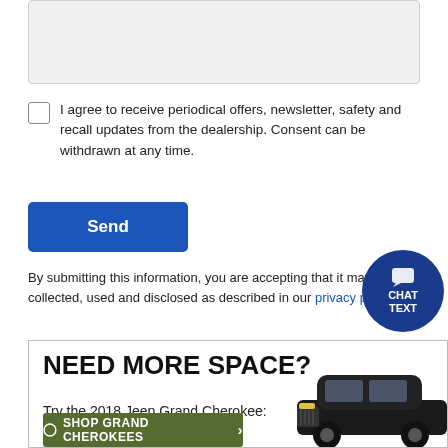[Figure (screenshot): Grey textarea input box (form field)]
I agree to receive periodical offers, newsletter, safety and recall updates from the dealership. Consent can be withdrawn at any time.
[Figure (screenshot): Blue Send button]
By submitting this information, you are accepting that it may be collected, used and disclosed as described in our privacy policy
[Figure (infographic): Dark blue circular chat/text button with speech bubble icon and labels CHAT TEXT]
[Figure (illustration): Advertisement box: NEED MORE SPACE? Try the 2018 Jeep Grand Cherokee: with SHOP GRAND CHEROKEES button and image of a black Jeep Grand Cherokee SUV]